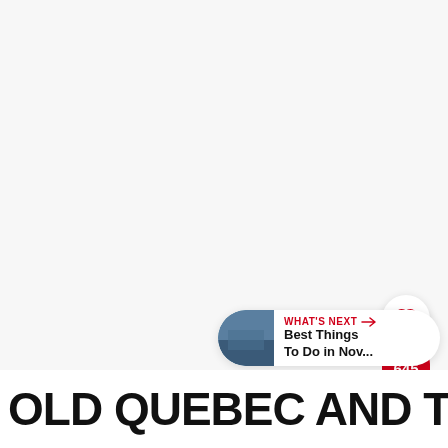[Figure (photo): Large hero image area (white/light, likely a photo of Old Quebec) occupying the top portion of the page]
[Figure (infographic): UI overlay: heart/like button (white circle with red heart outline), share count badge showing 645 in red, and share button (red circle with share icon)]
[Figure (infographic): WHAT'S NEXT banner with thumbnail image and text: Best Things To Do in Nov...]
OLD QUEBEC AND THE